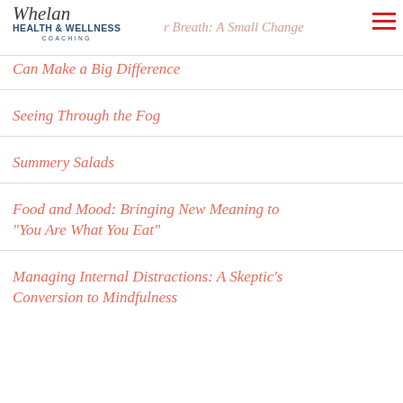Whelan Health & Wellness Coaching
Your Breath: A Small Change Can Make a Big Difference
Seeing Through the Fog
Summery Salads
Food and Mood: Bringing New Meaning to "You Are What You Eat"
Managing Internal Distractions: A Skeptic's Conversion to Mindfulness